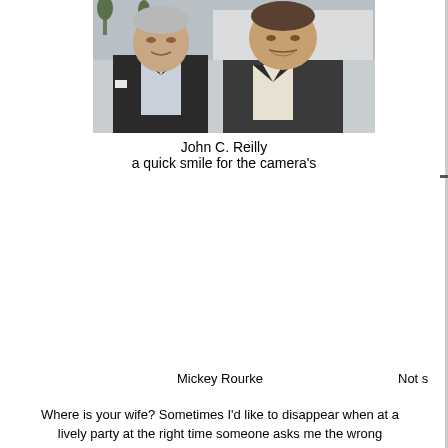[Figure (photo): Two men in dark suits posing together at what appears to be an outdoor event with white tent in background. Older man on left in dark suit, younger heavier-set man on right.]
John C. Reilly
a quick smile for the camera's
Mickey Rourke
Not s
Where is your wife? Sometimes I'd like to disappear when at a lively party at the right time someone asks me the wrong